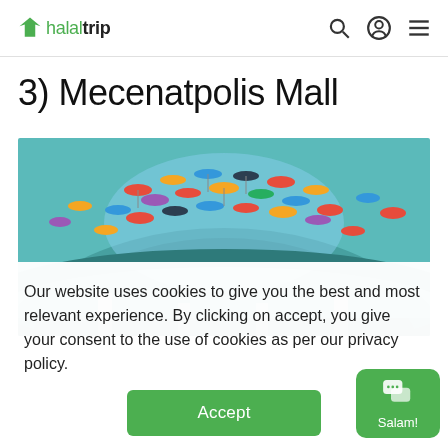halaltrip
3) Mecenatpolis Mall
[Figure (photo): Interior of Mecenatpolis Mall showing a large circular atrium ceiling decorated with colorful umbrellas (red, orange, yellow, blue, navy) suspended from above, with a teal/turquoise architectural structure visible below.]
Our website uses cookies to give you the best and most relevant experience. By clicking on accept, you give your consent to the use of cookies as per our privacy policy.